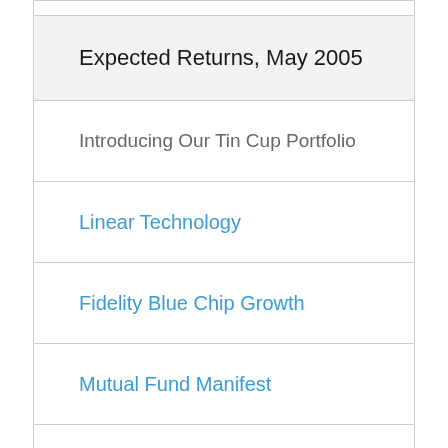Expected Returns, May 2005
Introducing Our Tin Cup Portfolio
Linear Technology
Fidelity Blue Chip Growth
Mutual Fund Manifest
Sweet 16
Tin Cup Model Portfolio
Sweet Spot Speculation
Vanguard Total Stock Market (VTSMX)